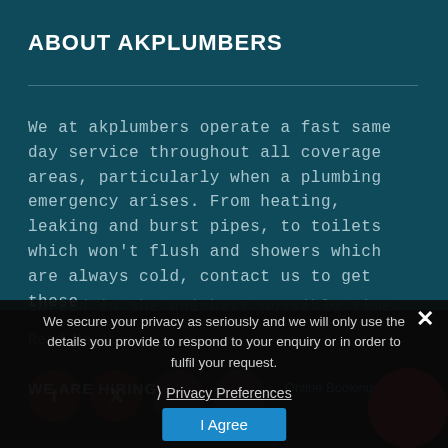ABOUT AKPLUMBERS
We at akplumbers operate a fast same day service throughout all coverage areas, particularly when a plumbing emergency arises. From heating, leaking and burst pipes, to toilets which won't flush and showers which are always cold, contact us to get these sorted in the quickest possible time
We secure your privacy as seriously and we will only use the details you provide to respond to your enquiry or in order to fulfil your request.
❯ Privacy Preferences
I Agree